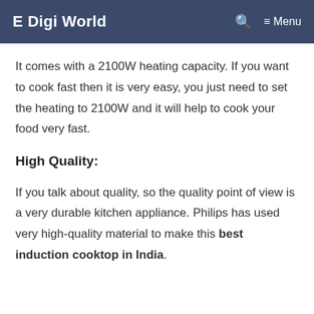E Digi World  🔍  ≡ Menu
It comes with a 2100W heating capacity. If you want to cook fast then it is very easy, you just need to set the heating to 2100W and it will help to cook your food very fast.
High Quality:
If you talk about quality, so the quality point of view is a very durable kitchen appliance. Philips has used very high-quality material to make this best induction cooktop in India.